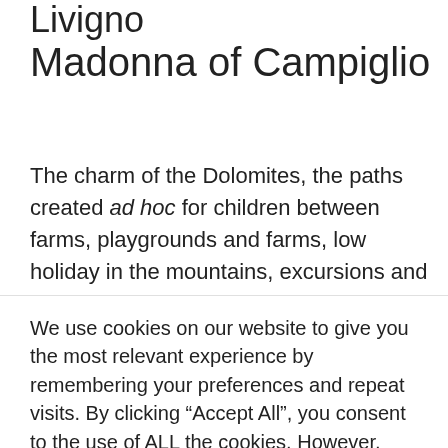Livigno
Madonna of Campiglio
The charm of the Dolomites, the paths created ad hoc for children between farms, playgrounds and farms, low holiday in the mountains, excursions and trekking, more within reach of our children. They will be more motivated to grind miles in front of the
We use cookies on our website to give you the most relevant experience by remembering your preferences and repeat visits. By clicking “Accept All”, you consent to the use of ALL the cookies. However, you may visit "Cookie Settings" to provide a controlled consent.
Cookie Settings | Accept All